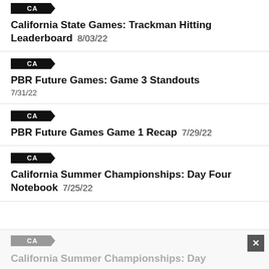California State Games: Trackman Hitting Leaderboard  8/03/22
PBR Future Games: Game 3 Standouts  7/31/22
PBR Future Games Game 1 Recap  7/29/22
California Summer Championships: Day Four Notebook  7/25/22
California Summer Championships: Day  [ad/partial]